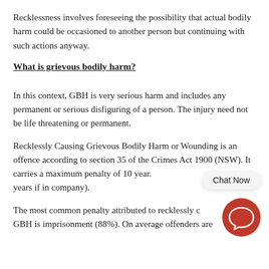Recklessness involves foreseeing the possibility that actual bodily harm could be occasioned to another person but continuing with such actions anyway.
What is grievous bodily harm?
In this context, GBH is very serious harm and includes any permanent or serious disfiguring of a person. The injury need not be life threatening or permanent.
Recklessly Causing Grievous Bodily Harm or Wounding is an offence according to section 35 of the Crimes Act 1900 (NSW). It carries a maximum penalty of 10 year. years if in company).
The most common penalty attributed to recklessly c GBH is imprisonment (88%). On average offenders are